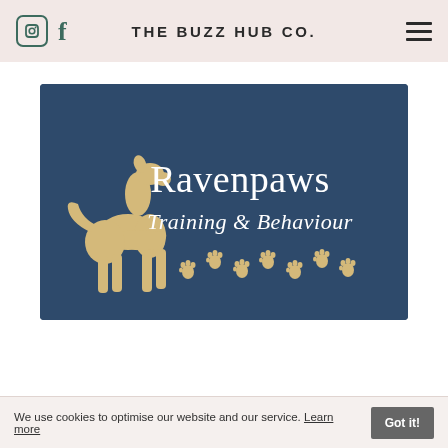THE BUZZ HUB CO.
[Figure (logo): Ravenpaws Training & Behaviour logo on dark navy blue background. Features a golden/tan greyhound silhouette on the left side and paw print trail along the bottom. Text reads 'Ravenpaws' in white serif font and 'Training & Behaviour' in white script font.]
We use cookies to optimise our website and our service. Learn more